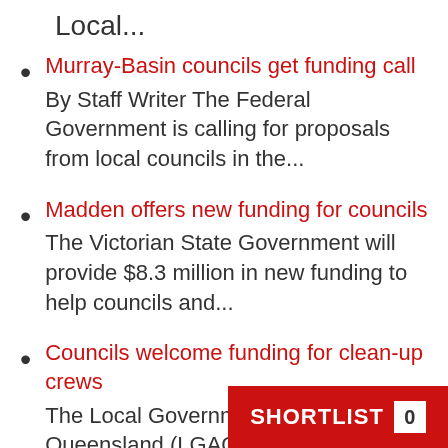Local...
Murray-Basin councils get funding call
By Staff Writer The Federal Government is calling for proposals from local councils in the...
Madden offers new funding for councils
The Victorian State Government will provide $8.3 million in new funding to help councils and...
Councils welcome funding for clean-up crews
The Local Government Association of Queensland (LGAQ) has welcomed the Federal government's $315 million re...